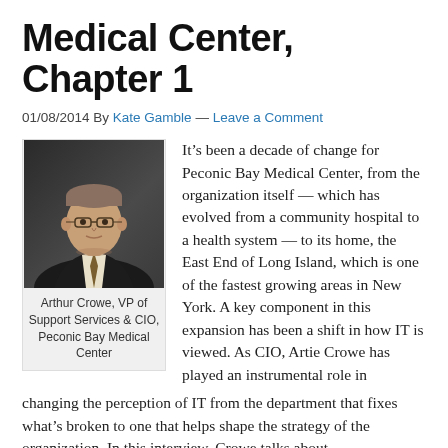Medical Center, Chapter 1
01/08/2014 By Kate Gamble — Leave a Comment
[Figure (photo): Headshot photo of Arthur Crowe, a middle-aged man with glasses wearing a dark suit and tie, against a dark background]
Arthur Crowe, VP of Support Services & CIO, Peconic Bay Medical Center
It’s been a decade of change for Peconic Bay Medical Center, from the organization itself — which has evolved from a community hospital to a health system — to its home, the East End of Long Island, which is one of the fastest growing areas in New York. A key component in this expansion has been a shift in how IT is viewed. As CIO, Artie Crowe has played an instrumental role in changing the perception of IT from the department that fixes what’s broken to one that helps shape the strategy of the organization. In this interview, Crowe talks about